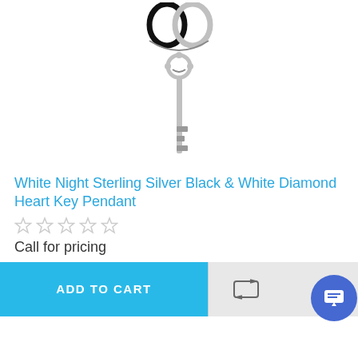[Figure (photo): Sterling silver heart key pendant with black and white diamond accents, showing a decorative heart bail at top and ornate key shaft below]
White Night Sterling Silver Black & White Diamond Heart Key Pendant
☆☆☆☆☆ (0 stars rating)
Call for pricing
ADD TO CART